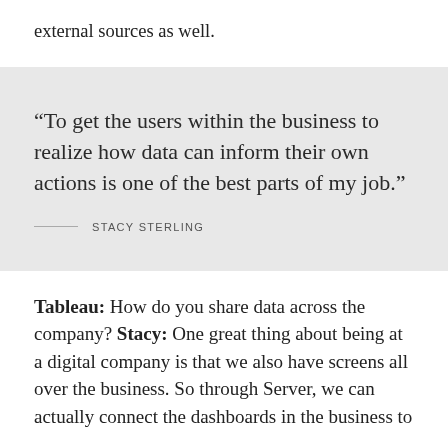external sources as well.
“To get the users within the business to realize how data can inform their own actions is one of the best parts of my job.” — STACY STERLING
Tableau: How do you share data across the company? Stacy: One great thing about being at a digital company is that we also have screens all over the business. So through Server, we can actually connect the dashboards in the business to